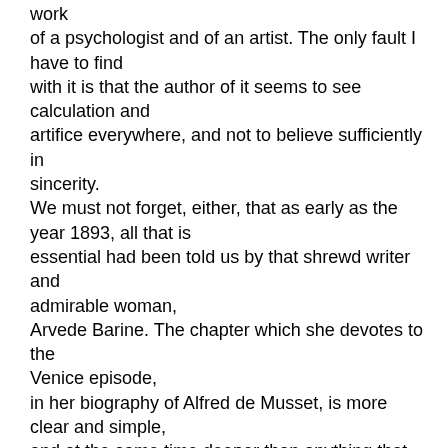work of a psychologist and of an artist. The only fault I have to find with it is that the author of it seems to see calculation and artifice everywhere, and not to believe sufficiently in sincerity. We must not forget, either, that as early as the year 1893, all that is essential had been told us by that shrewd writer and admirable woman, Arvede Barine. The chapter which she devotes to the Venice episode, in her biography of Alfred de Musset, is more clear and simple, and at the same time deeper than anything that had yet been written.
It is a subject that has been given up to the curiosity of people and to their disputes. The strange part is the zeal which at once animates every one who takes part in this controversy. The very atmosphere seems to be impregnated with strife, and those interested become,